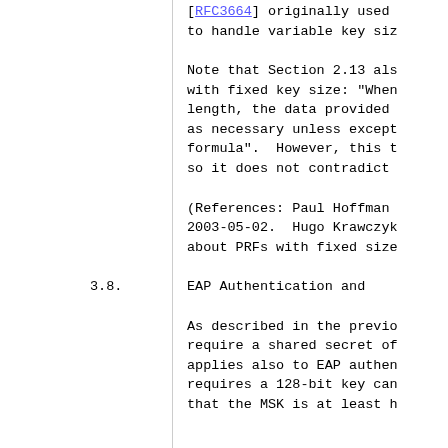[RFC3664] originally used to handle variable key siz
Note that Section 2.13 also with fixed key size: "When length, the data provided as necessary unless except formula". However, this t so it does not contradict
(References: Paul Hoffman 2003-05-02. Hugo Krawczyk about PRFs with fixed size
3.8. EAP Authentication and
As described in the previo require a shared secret of applies also to EAP authen requires a 128-bit key can that the MSK is at least h